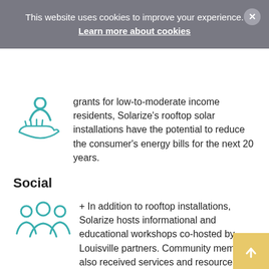This website uses cookies to improve your experience. Learn more about cookies
grants for low-to-moderate income residents, Solarize's rooftop solar installations have the potential to reduce the consumer's energy bills for the next 20 years.
Social
+ In addition to rooftop installations, Solarize hosts informational and educational workshops co-hosted by Louisville partners. Community members also received services and resources, such as energy efficiency upgrades, roof repair, and other home improvements that they wouldn't have had access to otherwise.